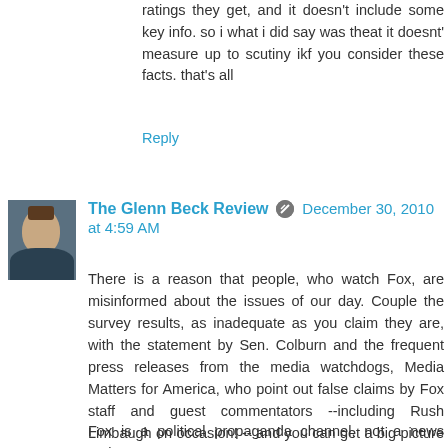ratings they get, and it doesn't include some key info. so i what i did say was theat it doesnt' measure up to scutiny ikf you consider these facts. that's all
Reply
The Glenn Beck Review  December 30, 2010 at 4:59 AM
There is a reason that people, who watch Fox, are misinformed about the issues of our day. Couple the survey results, as inadequate as you claim they are, with the statement by Sen. Colburn and the frequent press releases from the media watchdogs, Media Matters for America, who point out false claims by Fox staff and guest commentators --including Rush Limbaugh on occasion! -- and you can get a big picture that Fox is creating an alternative reality based in part upon fictions and (this doesn't take a genius or a poll to figure out) Beck is painting an alternative reality that is way more "extreme" (his word) and out of alignment with the facts of reality. Those are the points of this post.
Fox is a political propaganda channel, not a news outlet